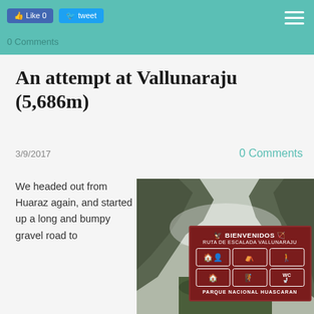Like 0  Tweet  0 Comments
An attempt at Vallunaraju (5,686m)
3/9/2017   0 Comments
We headed out from Huaraz again, and started up a long and bumpy gravel road to
[Figure (photo): A park entrance sign reading 'BIENVENIDOS RUTA DE ESCALADA VALLUNARAJU' with facility icons, and 'PARQUE NACIONAL HUASCARAN' at the bottom, set against a rocky mountain valley with mist.]